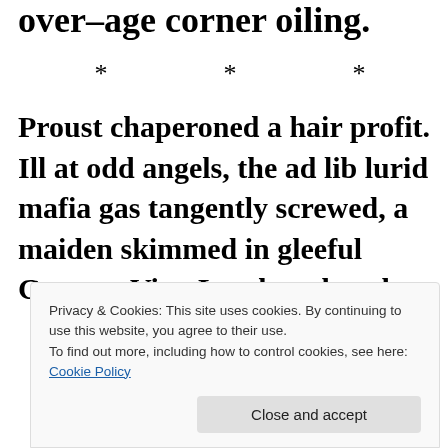over–age corner oiling.
* * *
Proust chaperoned a hair profit. Ill at odd angels, the ad lib lurid mafia gas tangently screwed, a maiden skimmed in gleeful Gummy Vino Land, and as the
Privacy & Cookies: This site uses cookies. By continuing to use this website, you agree to their use.
To find out more, including how to control cookies, see here: Cookie Policy
Close and accept